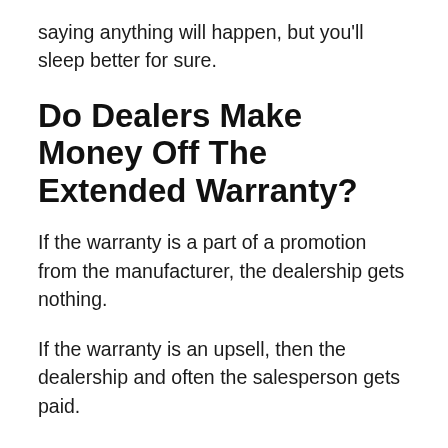saying anything will happen, but you'll sleep better for sure.
Do Dealers Make Money Off The Extended Warranty?
If the warranty is a part of a promotion from the manufacturer, the dealership gets nothing.
If the warranty is an upsell, then the dealership and often the salesperson gets paid.
The longer the warranty, the more the